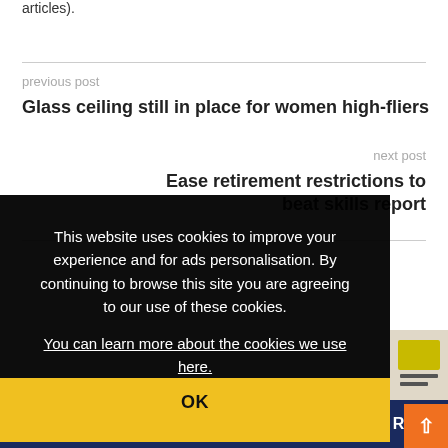articles).
previous post
Glass ceiling still in place for women high-fliers
next post
Ease retirement restrictions to beat skills report
This website uses cookies to improve your experience and for ads personalisation. By continuing to browse this site you are agreeing to our use of these cookies. You can learn more about the cookies we use here.
OK
REGIS